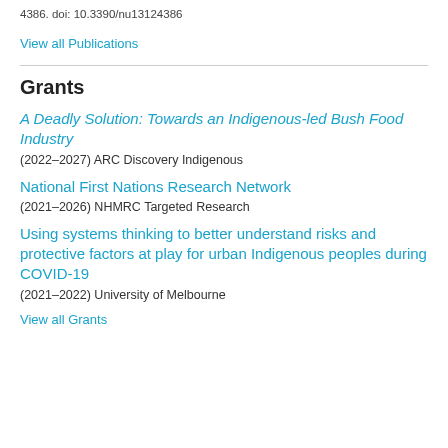4386. doi: 10.3390/nu13124386
View all Publications
Grants
A Deadly Solution: Towards an Indigenous-led Bush Food Industry
(2022–2027) ARC Discovery Indigenous
National First Nations Research Network
(2021–2026) NHMRC Targeted Research
Using systems thinking to better understand risks and protective factors at play for urban Indigenous peoples during COVID-19
(2021–2022) University of Melbourne
View all Grants